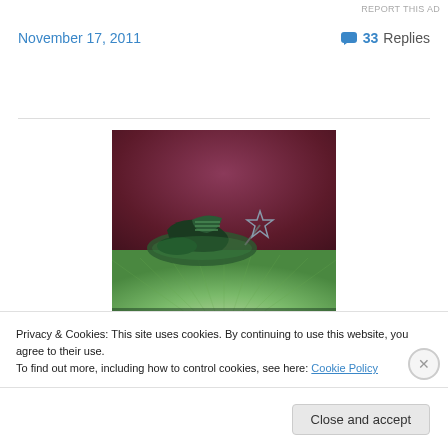REPORT THIS AD
November 17, 2011
💬 33 Replies
[Figure (photo): A photo of a person wearing green-lit Converse sneakers lying on a red surface, with a star-wand accessory visible, and text overlay reading 'You're in my fairy tale' on green-tinted floor]
Privacy & Cookies: This site uses cookies. By continuing to use this website, you agree to their use.
To find out more, including how to control cookies, see here: Cookie Policy
Close and accept